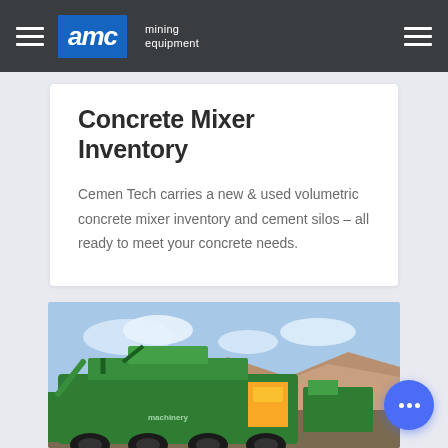AMC mining equipment
Concrete Mixer Inventory
Cemen Tech carries a new & used volumetric concrete mixer inventory and cement silos – all ready to meet your concrete needs.
[Figure (photo): Green industrial mining/concrete mixer equipment photographed outdoors in a rocky quarry setting under a blue sky with clouds.]